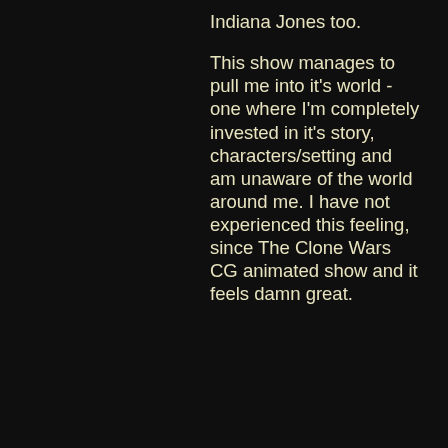Indiana Jones too.

This show manages to pull me into it's world - one where I'm completely invested in it's story, characters/setting and am unaware of the world around me. I have not experienced this feeling, since The Clone Wars CG animated show and it feels damn great.